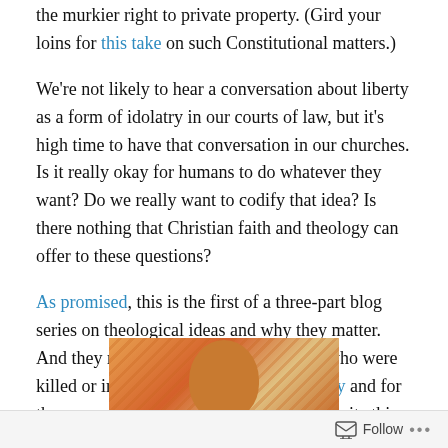the murkier right to private property. (Gird your loins for this take on such Constitutional matters.)
We're not likely to hear a conversation about liberty as a form of idolatry in our courts of law, but it's high time to have that conversation in our churches. Is it really okay for humans to do whatever they want? Do we really want to codify that idea? Is there nothing that Christian faith and theology can offer to these questions?
As promised, this is the first of a three-part blog series on theological ideas and why they matter. And they matter not least for the people who were killed or injured in Aurora, Colorado today and for the many species that are, even now as I write this, going extinct on this planet.
[Figure (photo): Partial photo of a person's head, shown from about the shoulders up, with orange/warm toned background with diagonal stripe pattern on the left side]
Follow ···